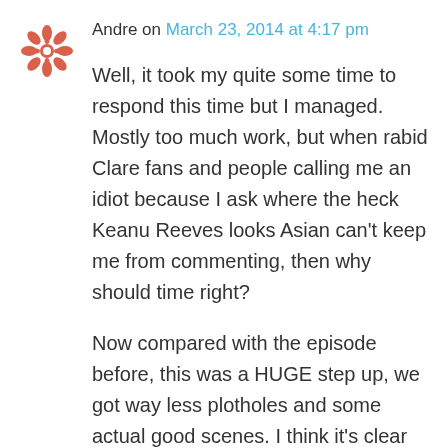Andre on March 23, 2014 at 4:17 pm
Well, it took my quite some time to respond this time but I managed. Mostly too much work, but when rabid Clare fans and people calling me an idiot because I ask where the heck Keanu Reeves looks Asian can't keep me from commenting, then why should time right?
Now compared with the episode before, this was a HUGE step up, we got way less plotholes and some actual good scenes. I think it's clear by now that these writers should never again attempt to integrate history into their show, they already can't do it with ethnicity and culture, and non-straight sexuality is also lacking somewhat, so they should stay the hell away from history.